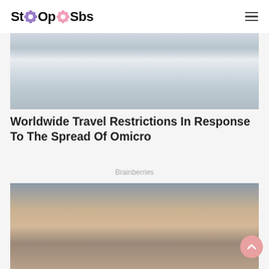StOopSbs
[Figure (photo): Group of people in white PPE hazmat suits with blue trim and face shields/masks]
Worldwide Travel Restrictions In Response To The Spread Of Omicro
Brainberries
[Figure (photo): Woman with dark hair and tattoos holding a baby in a blue beanie hat outdoors]